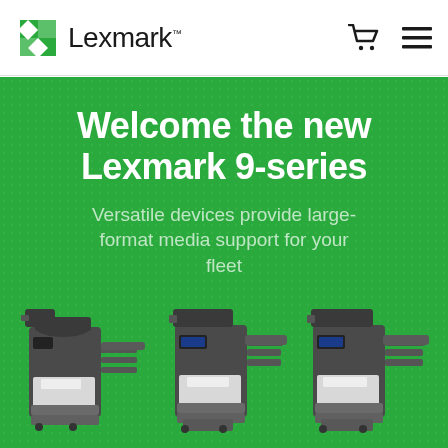Lexmark
Welcome the new Lexmark 9-series
Versatile devices provide large-format media support for your fleet
[Figure (photo): Three Lexmark 9-series multifunction printers shown with optional accessories and finishing attachments, displayed side by side on a green background]
Shown with options